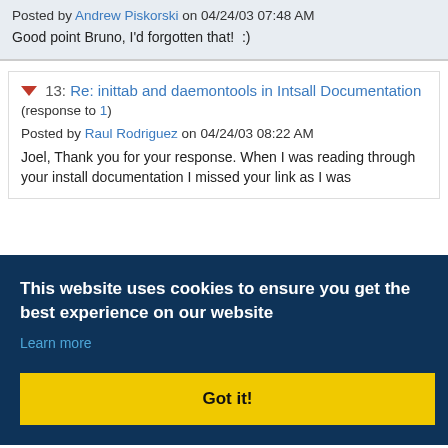Posted by Andrew Piskorski on 04/24/03 07:48 AM
Good point Bruno, I'd forgotten that!  :)
13: Re: inittab and daemontools in Intsall Documentation (response to 1)
Posted by Raul Rodriguez on 04/24/03 08:22 AM
Joel, Thank you for your response. When I was reading through your install documentation I missed your link as I was
This website uses cookies to ensure you get the best experience on our website
Learn more
Got it!
(Powered by Tcl, Next Scripting, NaviServer 4.99.24, IPv4)